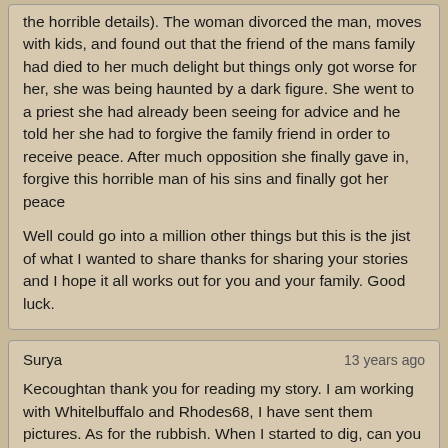the horrible details). The woman divorced the man, moves with kids, and found out that the friend of the mans family had died to her much delight but things only got worse for her, she was being haunted by a dark figure. She went to a priest she had already been seeing for advice and he told her she had to forgive the family friend in order to receive peace. After much opposition she finally gave in, forgive this horrible man of his sins and finally got her peace

Well could go into a million other things but this is the jist of what I wanted to share thanks for sharing your stories and I hope it all works out for you and your family. Good luck.
Surya
13 years ago
Kecoughtan thank you for reading my story. I am working with Whitelbuffalo and Rhodes68, I have sent them pictures. As for the rubbish. When I started to dig, can you believe the fork would not go into the soil, I eventually ended up using a spade, as the top of the soil was so hard, strange really but it did the trick. I came across cloth, strange metal pieces I could not make out what they were, broken jewellery, the best finding was this huge pipe like thing, it is shaped like the letter "S". So